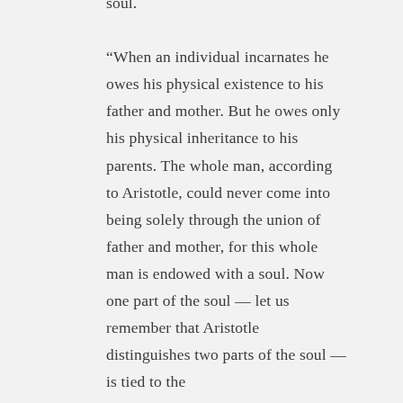soul. “When an individual incarnates he owes his physical existence to his father and mother. But he owes only his physical inheritance to his parents. The whole man, according to Aristotle, could never come into being solely through the union of father and mother, for this whole man is endowed with a soul. Now one part of the soul — let us remember that Aristotle distinguishes two parts of the soul — is tied to the